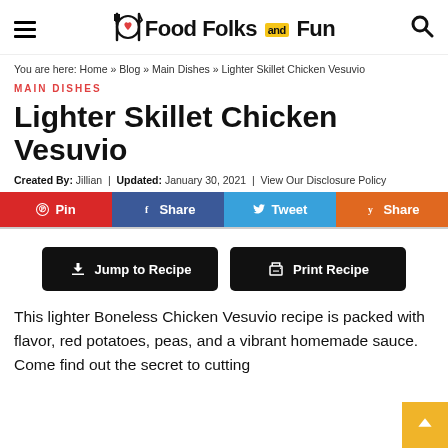Food Folks and Fun
You are here: Home » Blog » Main Dishes » Lighter Skillet Chicken Vesuvio
MAIN DISHES
Lighter Skillet Chicken Vesuvio
Created By: Jillian  |  Updated: January 30, 2021  |  View Our Disclosure Policy
[Figure (infographic): Social share buttons: Pin (red), Share (blue/Facebook), Tweet (light blue/Twitter), Share (orange/Yummly)]
[Figure (infographic): Two black buttons: Jump to Recipe (with download arrow icon) and Print Recipe (with printer icon)]
This lighter Boneless Chicken Vesuvio recipe is packed with flavor, red potatoes, peas, and a vibrant homemade sauce. Come find out the secret to cutting